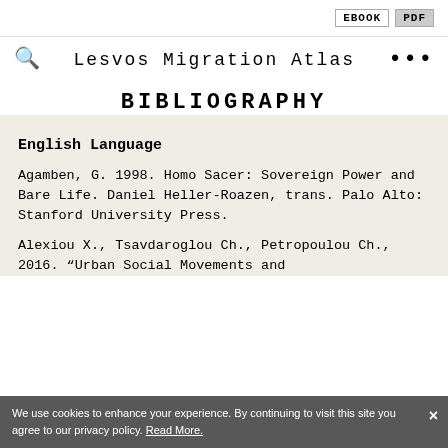EBOOK  PDF
Lesvos Migration Atlas
BIBLIOGRAPHY
English Language
Agamben, G. 1998. Homo Sacer: Sovereign Power and Bare Life. Daniel Heller-Roazen, trans. Palo Alto: Stanford University Press.
Alexiou X., Tsavdaroglou Ch., Petropoulou Ch., 2016. "Urban Social Movements and
We use cookies to enhance your experience. By continuing to visit this site you agree to our privacy policy. Read More.